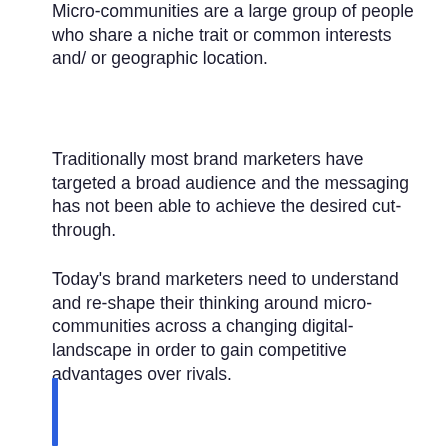Micro-communities are a large group of people who share a niche trait or common interests and/ or geographic location.
Traditionally most brand marketers have targeted a broad audience and the messaging has not been able to achieve the desired cut-through.
Today's brand marketers need to understand and re-shape their thinking around micro-communities across a changing digital-landscape in order to gain competitive advantages over rivals.
[Figure (other): Blue vertical bar/line decorative element at bottom left]